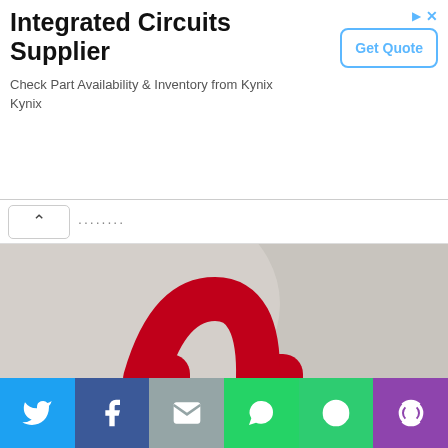[Figure (screenshot): Advertisement banner for Integrated Circuits Supplier - Kynix. Shows title 'Integrated Circuits Supplier', description 'Check Part Availability & Inventory from Kynix Kynix', and a 'Get Quote' button on the right.]
[Figure (screenshot): Navigation bar with back chevron (^) button and partial page title text.]
[Figure (photo): Product photo of a black tote bag with red handles/straps, showing the interior with red lining, on a grey background.]
We use cookies to optimize our website and our service.
Accept
[Figure (screenshot): Social share bar with Twitter (blue), Facebook (dark blue), Email (grey), WhatsApp (green), SMS (green), and More (purple) buttons.]